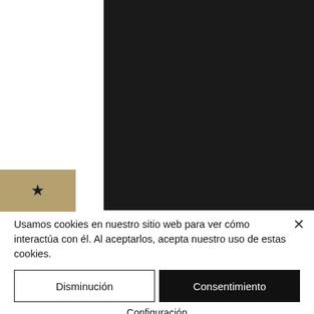[Figure (photo): Dark/black image area occupying upper-right portion of the page, with a gold/tan box with a black star icon on the left side.]
Usamos cookies en nuestro sitio web para ver cómo interactúa con él. Al aceptarlos, acepta nuestro uso de estas cookies.
Disminución
Consentimiento
Configuración